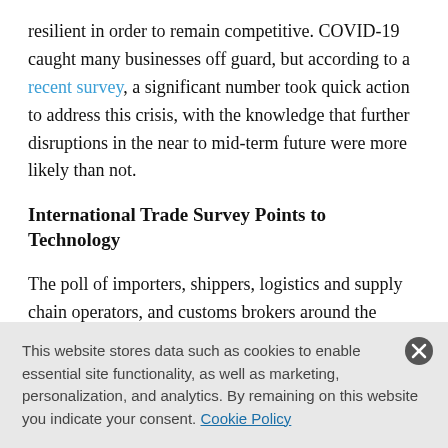resilient in order to remain competitive. COVID-19 caught many businesses off guard, but according to a recent survey, a significant number took quick action to address this crisis, with the knowledge that further disruptions in the near to mid-term future were more likely than not.
International Trade Survey Points to Technology
The poll of importers, shippers, logistics and supply chain operators, and customs brokers around the world found that COVID-19 had a major impact on international trade. More than a third
This website stores data such as cookies to enable essential site functionality, as well as marketing, personalization, and analytics. By remaining on this website you indicate your consent. Cookie Policy